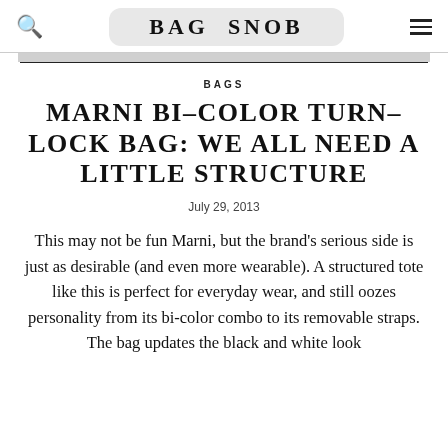BAG SNOB
BAGS
MARNI BI-COLOR TURN-LOCK BAG: WE ALL NEED A LITTLE STRUCTURE
July 29, 2013
This may not be fun Marni, but the brand’s serious side is just as desirable (and even more wearable). A structured tote like this is perfect for everyday wear, and still oozes personality from its bi-color combo to its removable straps. The bag updates the black and white look